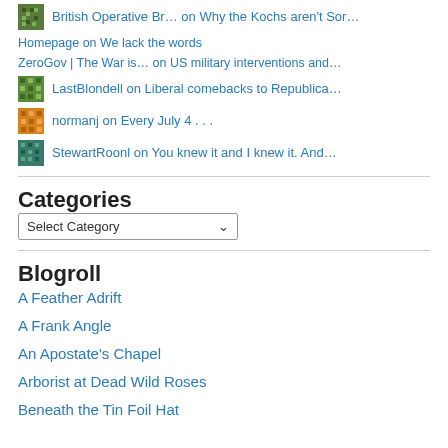British Operative Br… on Why the Kochs aren't Sor…
Homepage on We lack the words
ZeroGov | The War is… on US military interventions and…
LastBlondell on Liberal comebacks to Republica…
normanj on Every July 4 . . .
StewartRoonl on You knew it and I knew it. And…
Categories
Select Category
Blogroll
A Feather Adrift
A Frank Angle
An Apostate's Chapel
Arborist at Dead Wild Roses
Beneath the Tin Foil Hat